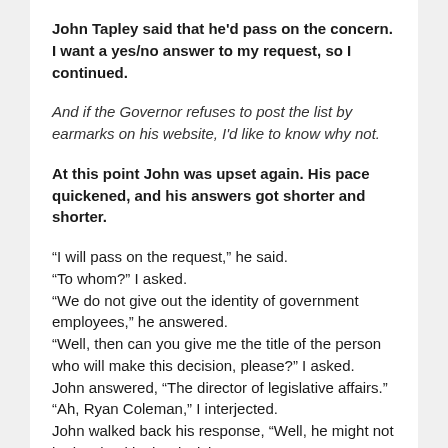John Tapley said that he'd pass on the concern. I want a yes/no answer to my request, so I continued.
And if the Governor refuses to post the list by earmarks on his website, I'd like to know why not.
At this point John was upset again. His pace quickened, and his answers got shorter and shorter.
“I will pass on the request,” he said.
“To whom?” I asked.
“We do not give out the identity of government employees,” he answered.
“Well, then can you give me the title of the person who will make this decision, please?” I asked.
John answered, “The director of legislative affairs.”
“Ah, Ryan Coleman,” I interjected.
John walked back his response, “Well, he might not be involved in the decision.”
“Can you call me back with the decision once